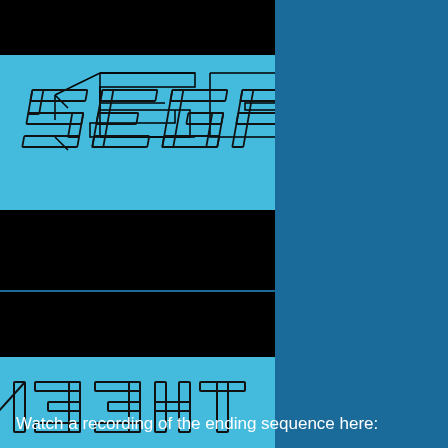[Figure (screenshot): A screenshot from a Sega game showing alternating black and cyan horizontal bars. The top cyan bar shows the SEGA logo in an outlined pixel/isometric style. The bottom cyan bar shows the text 'THE END' mirrored/reversed in pixel art style. The image is positioned on the left side of a blue background.]
Watch a recording of the ending sequence here: